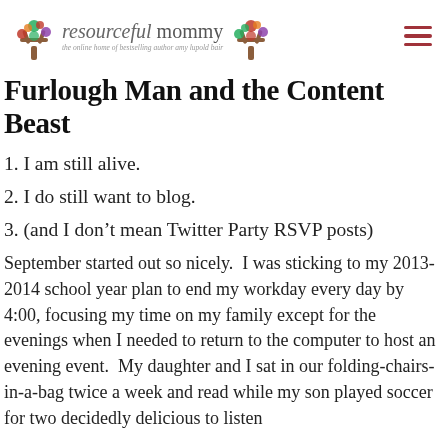resourceful mommy — the online home of bestselling author amy lupold bair
Furlough Man and the Content Beast
1. I am still alive.
2. I do still want to blog.
3. (and I don't mean Twitter Party RSVP posts)
September started out so nicely.  I was sticking to my 2013-2014 school year plan to end my workday every day by 4:00, focusing my time on my family except for the evenings when I needed to return to the computer to host an evening event.  My daughter and I sat in our folding-chairs-in-a-bag twice a week and read while my son played soccer for two decidedly delicious to listen